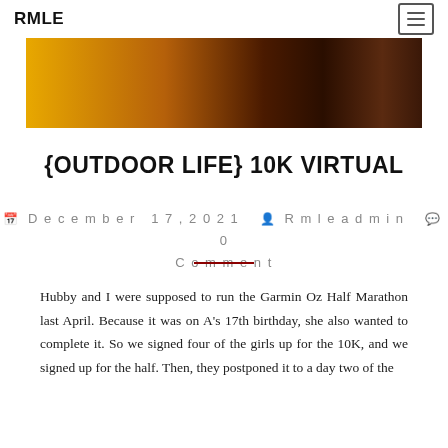RMLE
[Figure (photo): Partial view of what appears to be race/marathon swag items including a yellow box and chocolate-colored items with '2021' visible, on a white background.]
{OUTDOOR LIFE} 10K VIRTUAL
December 17, 2021  Rmleadmin  0 Comment
Hubby and I were supposed to run the Garmin Oz Half Marathon last April. Because it was on A's 17th birthday, she also wanted to complete it. So we signed four of the girls up for the 10K, and we signed up for the half. Then, they postponed it to a day two of the